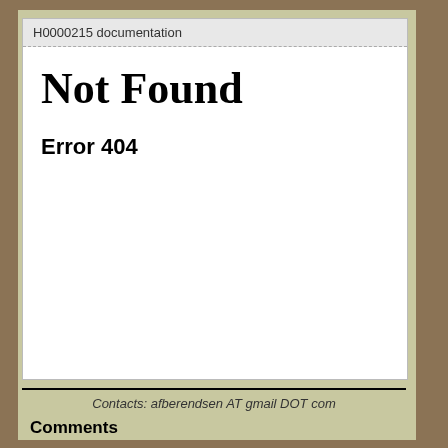H0000215 documentation
Not Found
Error 404
Contacts: afberendsen AT gmail DOT com
Comments